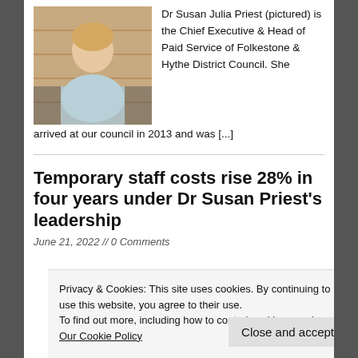[Figure (photo): Photo of Dr Susan Julia Priest, a woman with blonde hair, smiling, seated in front of wooden paneling]
Dr Susan Julia Priest (pictured) is the Chief Executive & Head of Paid Service of Folkestone & Hythe District Council. She arrived at our council in 2013 and was [...]
Temporary staff costs rise 28% in four years under Dr Susan Priest's leadership
June 21, 2022 // 0 Comments
Privacy & Cookies: This site uses cookies. By continuing to use this website, you agree to their use.
To find out more, including how to control cookies, see here: Our Cookie Policy